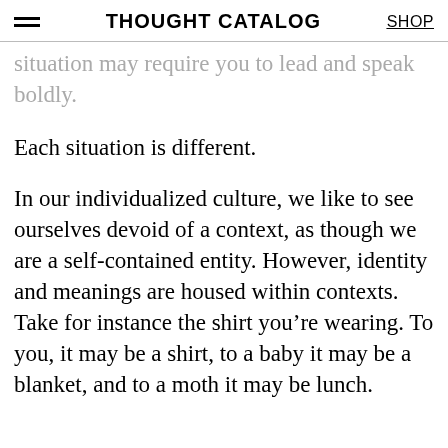THOUGHT CATALOG | SHOP
situation may require you to lead and speak boldly.
Each situation is different.
In our individualized culture, we like to see ourselves devoid of a context, as though we are a self-contained entity. However, identity and meanings are housed within contexts. Take for instance the shirt you’re wearing. To you, it may be a shirt, to a baby it may be a blanket, and to a moth it may be lunch.